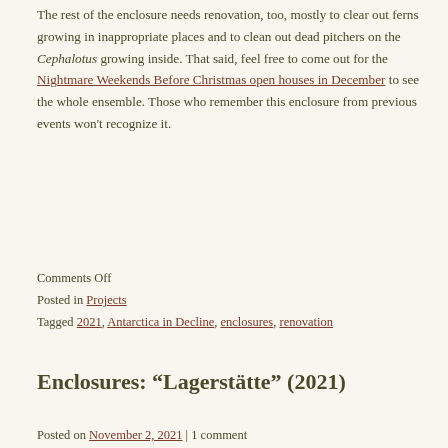The rest of the enclosure needs renovation, too, mostly to clear out ferns growing in inappropriate places and to clean out dead pitchers on the Cephalotus growing inside. That said, feel free to come out for the Nightmare Weekends Before Christmas open houses in December to see the whole ensemble. Those who remember this enclosure from previous events won't recognize it.
Comments Off
Posted in Projects
Tagged 2021, Antarctica in Decline, enclosures, renovation
Enclosures: “Lagerstätte” (2021)
Posted on November 2, 2021 | 1 comment